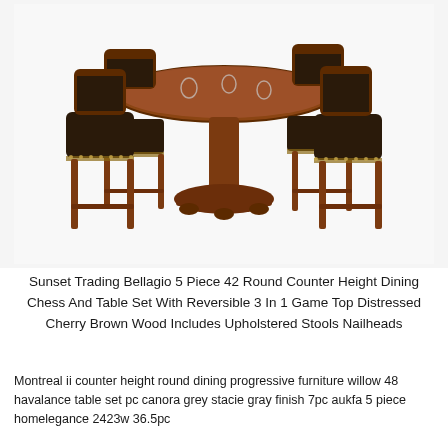[Figure (photo): A 5-piece counter height dining set featuring a round pedestal table in distressed cherry brown wood with a reversible game top, surrounded by four upholstered bar stools with dark brown leather seats and nailhead trim.]
Sunset Trading Bellagio 5 Piece 42 Round Counter Height Dining Chess And Table Set With Reversible 3 In 1 Game Top Distressed Cherry Brown Wood Includes Upholstered Stools Nailheads
Montreal ii counter height round dining progressive furniture willow 48 havalance table set pc canora grey stacie gray finish 7pc aukfa 5 piece homelegance 2423w 36.5pc